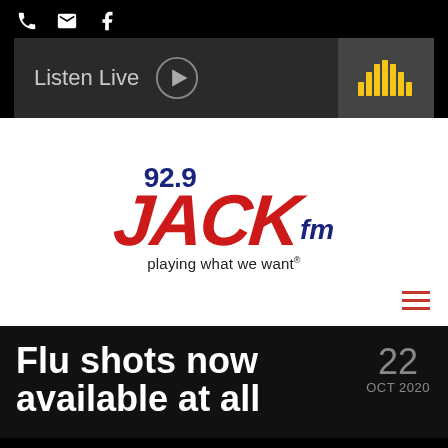[Figure (screenshot): Top navigation bar with phone, email, and Facebook icons in white on black background]
[Figure (screenshot): Listen Live button with play icon and audio waveform icon on dark background]
[Figure (logo): 92.9 JACK fm radio station logo - playing what we want]
Flu shots now available at all
22 OCT 2020